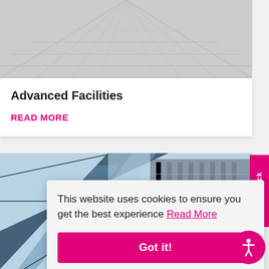[Figure (photo): Looking up at a glass ceiling or building facade with a geometric grid pattern in gray and white tones]
Advanced Facilities
READ MORE
[Figure (photo): Modern glass building exterior with blue sky, geometric angular architecture]
Feedback
This website uses cookies to ensure you get the best experience Read More
Got it!